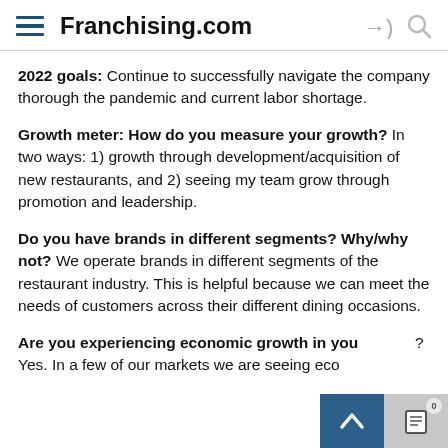Franchising.com
2022 goals: Continue to successfully navigate the company thorough the pandemic and current labor shortage.
Growth meter: How do you measure your growth? In two ways: 1) growth through development/acquisition of new restaurants, and 2) seeing my team grow through promotion and leadership.
Do you have brands in different segments? Why/why not? We operate brands in different segments of the restaurant industry. This is helpful because we can meet the needs of customers across their different dining occasions.
Are you experiencing economic growth in you... Yes. In a few of our markets we are seeing economic...